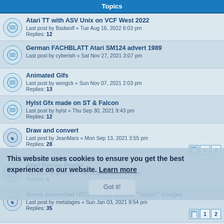Topics
Atari TT with ASV Unix on VCF West 2022
Last post by Badwolf « Tue Aug 16, 2022 6:03 pm
Replies: 12
German FACHBLATT Atari SM124 advert 1989
Last post by cyberish « Sat Nov 27, 2021 3:07 pm
Animated Gifs
Last post by wongck « Sun Nov 07, 2021 2:03 pm
Replies: 13
Hylst Gfx made on ST & Falcon
Last post by hylst « Thu Sep 30, 2021 9:43 pm
Replies: 12
Draw and convert
Last post by JeanMars « Mon Sep 13, 2021 3:55 pm
Replies: 28
Atari Falcon Poster
Last post by geodom « Tue Aug 24, 2021 3:25 pm
Replies: 6
Some converted NEOchrome Master "raster" images
Last post by metalages « Sun Jan 03, 2021 9:54 pm
Replies: 35
Gallery of images
Last post by dhedberg « Tue Aug 04, 2020 3:45 pm
Replies: 9
This website uses cookies to ensure you get the best experience on our website. Learn more
Got it!